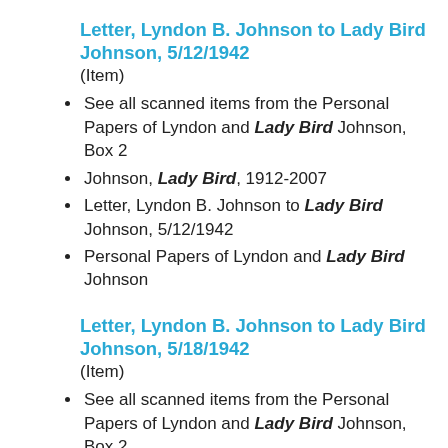Letter, Lyndon B. Johnson to Lady Bird Johnson, 5/12/1942
(Item)
See all scanned items from the Personal Papers of Lyndon and Lady Bird Johnson, Box 2
Johnson, Lady Bird, 1912-2007
Letter, Lyndon B. Johnson to Lady Bird Johnson, 5/12/1942
Personal Papers of Lyndon and Lady Bird Johnson
Letter, Lyndon B. Johnson to Lady Bird Johnson, 5/18/1942
(Item)
See all scanned items from the Personal Papers of Lyndon and Lady Bird Johnson, Box 2
Johnson, Lady Bird, 1912-